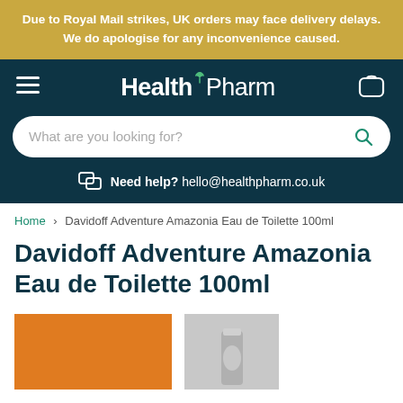Due to Royal Mail strikes, UK orders may face delivery delays. We do apologise for any inconvenience caused.
[Figure (logo): HealthPharm logo with navigation bar including hamburger menu and cart icon, search bar with placeholder 'What are you looking for?', and help text with email hello@healthpharm.co.uk]
Home › Davidoff Adventure Amazonia Eau de Toilette 100ml
Davidoff Adventure Amazonia Eau de Toilette 100ml
[Figure (photo): Bottom portion of product images showing orange box packaging and grey/silver bottle of Davidoff Adventure Amazonia Eau de Toilette 100ml]